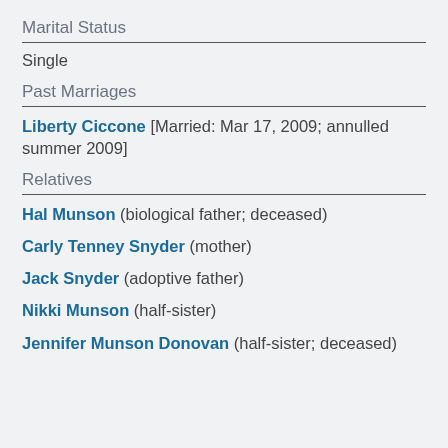Marital Status
Single
Past Marriages
Liberty Ciccone [Married: Mar 17, 2009; annulled summer 2009]
Relatives
Hal Munson (biological father; deceased)
Carly Tenney Snyder (mother)
Jack Snyder (adoptive father)
Nikki Munson (half-sister)
Jennifer Munson Donovan (half-sister; deceased)